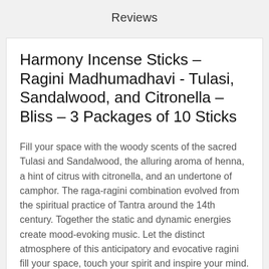Reviews
Harmony Incense Sticks – Ragini Madhumadhavi - Tulasi, Sandalwood, and Citronella – Bliss – 3 Packages of 10 Sticks
Fill your space with the woody scents of the sacred Tulasi and Sandalwood, the alluring aroma of henna, a hint of citrus with citronella, and an undertone of camphor. The raga-ragini combination evolved from the spiritual practice of Tantra around the 14th century. Together the static and dynamic energies create mood-evoking music. Let the distinct atmosphere of this anticipatory and evocative ragini fill your space, touch your spirit and inspire your mind.